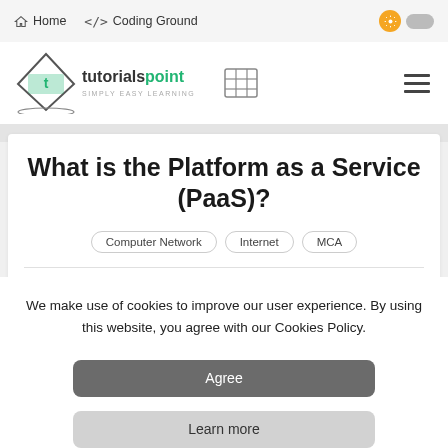Home  />  Coding Ground
[Figure (logo): Tutorialspoint logo with diamond shape and 'SIMPLY EASY LEARNING' tagline, followed by a grid/table icon and hamburger menu icon]
What is the Platform as a Service (PaaS)?
Computer Network   Internet   MCA
We make use of cookies to improve our user experience. By using this website, you agree with our Cookies Policy.
Agree
Learn more